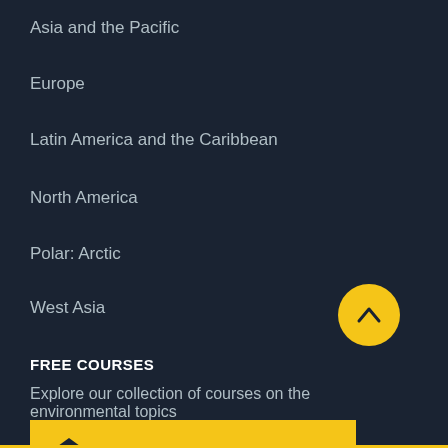Asia and the Pacific
Europe
Latin America and the Caribbean
North America
Polar: Arctic
West Asia
FREE COURSES
Explore our collection of courses on the environmental topics
[Figure (other): Yellow button with graduation cap icon labeled FREE ONLINE COURSES]
[Figure (other): Yellow circular scroll-to-top button with upward chevron arrow]